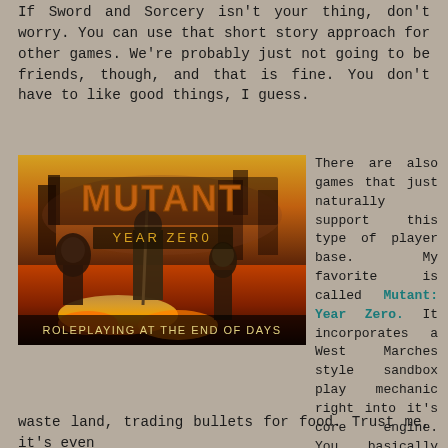If Sword and Sorcery isn't your thing, don't worry. You can use that short story approach for other games. We're probably just not going to be friends, though, and that is fine. You don't have to like good things, I guess.
[Figure (illustration): Book cover for 'Mutant: Year Zero - Roleplaying at the End of Days' showing post-apocalyptic mutant figures walking through a burning wasteland]
There are also games that just naturally support this type of player base. My favorite is called Mutant: Year Zero. It incorporates a West Marches style sandbox play mechanic right into it's core engine. You basically get to play a crappy version of an X-men in a post apocalyptic
waste land, trading bullets for food. Trust me, it's even